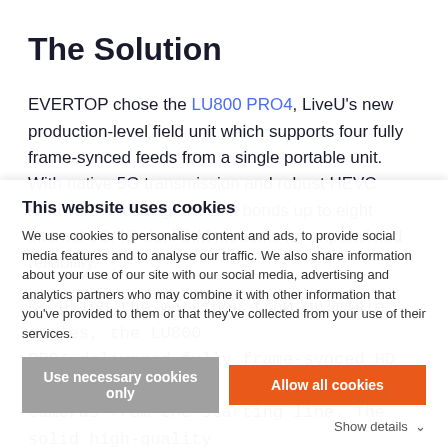The Solution
EVERTOP chose the LU800 PRO4, LiveU's new production-level field unit which supports four fully frame-synced feeds from a single portable unit. With native 5G transmission and robust HEVC hardware encoding, the unit bonds up to eight internal 5G/4G dual SIM modems for unparalleled reliability.
Covering the marathon from multiple angles, the LU800 PRO4 delivered fully frame-synced HD feeds of four cameras from the starting line. The solid high-quality EVERTOP's production OB van. With support from China Unicom and China Telecom, 5G signal was available in the field; the LU800 combined both 4G and 5G connectivity to ensure optimal streaming conditions.
This website uses cookies
We use cookies to personalise content and ads, to provide social media features and to analyse our traffic. We also share information about your use of our site with our social media, advertising and analytics partners who may combine it with other information that you've provided to them or that they've collected from your use of their services.
Use necessary cookies only
Allow all cookies
Show details